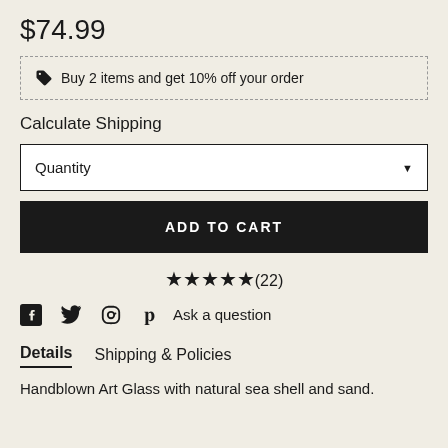$74.99
🏷 Buy 2 items and get 10% off your order
Calculate Shipping
Quantity
ADD TO CART
★★★★★(22)
Ask a question
Details   Shipping & Policies
Handblown Art Glass with natural sea shell and sand.